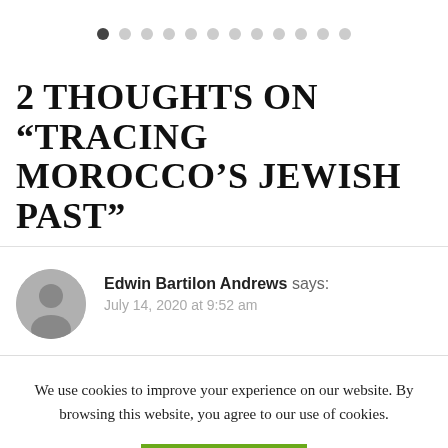[Figure (other): Pagination dots: first dot filled/dark, remaining 11 dots empty/grey]
2 THOUGHTS ON “TRACING MOROCCO’S JEWISH PAST”
Edwin Bartilon Andrews says: July 14, 2020 at 9:52 am
We use cookies to improve your experience on our website. By browsing this website, you agree to our use of cookies.
ACCEPT